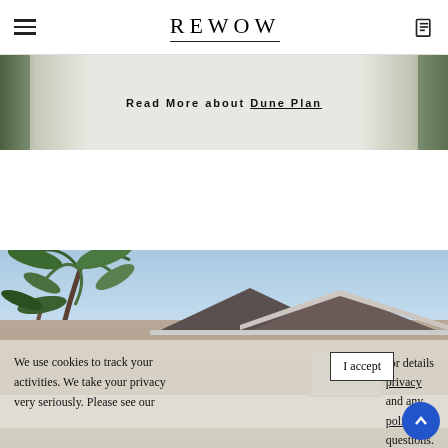REWOW
Read More about Dune Plan
[Figure (photo): Exterior rendering of a single-story house with palm trees and blue sky background]
We use cookies to track your activities. We take your privacy very seriously. Please see our for details privacy and any policy questions.
I accept